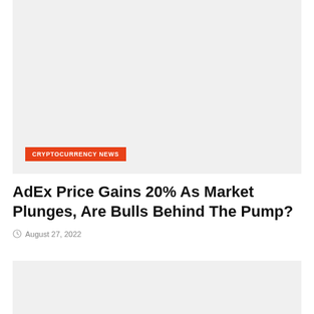[Figure (photo): Top banner image placeholder with light gray background and orange CRYPTOCURRENCY NEWS category label]
AdEx Price Gains 20% As Market Plunges, Are Bulls Behind The Pump?
August 27, 2022
[Figure (photo): Bottom image placeholder with light gray background, partially visible]